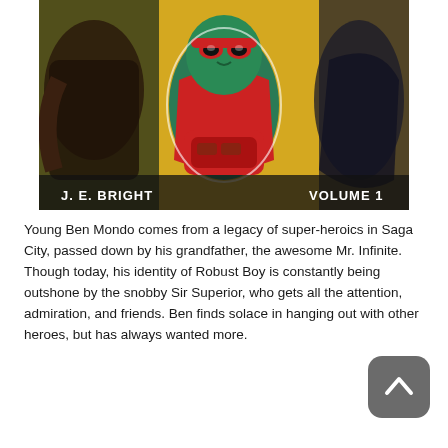[Figure (illustration): Comic book cover illustration showing a green-skinned superhero character in red costume (Robust Boy) with goggles and a red gauntlet/device. Yellow background with other dark figures. Text reads 'J. E. BRIGHT' on the left and 'VOLUME 1' on the right at the bottom of the cover.]
Young Ben Mondo comes from a legacy of super-heroics in Saga City, passed down by his grandfather, the awesome Mr. Infinite. Though today, his identity of Robust Boy is constantly being outshone by the snobby Sir Superior, who gets all the attention, admiration, and friends. Ben finds solace in hanging out with other heroes, but has always wanted more.